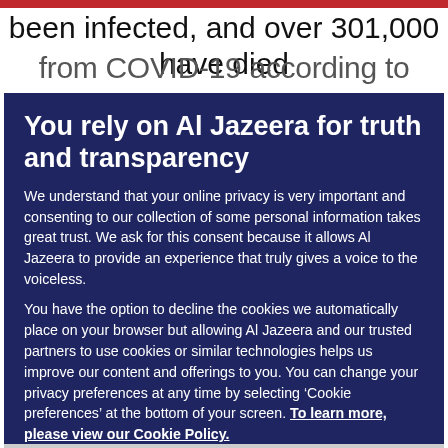been infected, and over 301,000 have died
from COVID-19 according to Johns Hopkins
You rely on Al Jazeera for truth and transparency
We understand that your online privacy is very important and consenting to our collection of some personal information takes great trust. We ask for this consent because it allows Al Jazeera to provide an experience that truly gives a voice to the voiceless.
You have the option to decline the cookies we automatically place on your browser but allowing Al Jazeera and our trusted partners to use cookies or similar technologies helps us improve our content and offerings to you. You can change your privacy preferences at any time by selecting ‘Cookie preferences’ at the bottom of your screen. To learn more, please view our Cookie Policy.